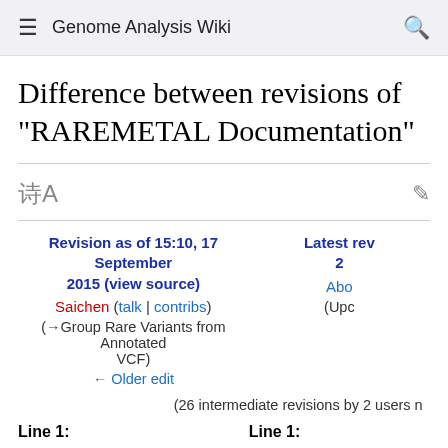Genome Analysis Wiki
Difference between revisions of "RAREMETAL Documentation"
Revision as of 15:10, 17 September 2015 (view source)
Saichen (talk | contribs)
(→Group Rare Variants from Annotated VCF)
← Older edit
Latest rev
2
Abo
(Upc
(26 intermediate revisions by 2 users n
Line 1:
Line 1: